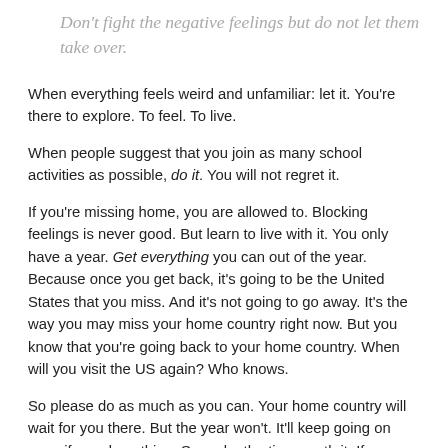Don't fight the negative feelings but do not let them take over.
When everything feels weird and unfamiliar: let it. You're there to explore. To feel. To live.
When people suggest that you join as many school activities as possible, do it. You will not regret it.
If you're missing home, you are allowed to. Blocking feelings is never good. But learn to live with it. You only have a year. Get everything you can out of the year. Because once you get back, it's going to be the United States that you miss. And it's not going to go away. It's the way you may miss your home country right now. But you know that you're going back to your home country. When will you visit the US again? Who knows.
So please do as much as you can. Your home country will wait for you there. But the year won't. It'll keep going on even if you do nothing. So make the time worth it. If your host family asks you to go to the grocery store, say yes. ALWAYS say YES.